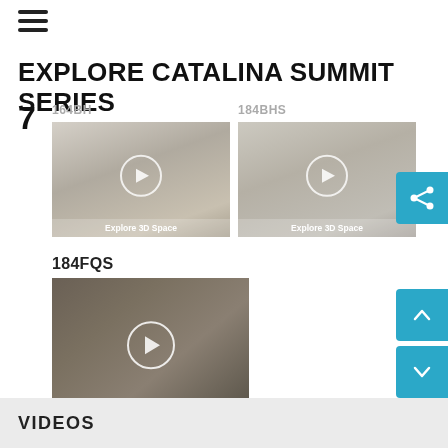[Figure (screenshot): Hamburger menu icon (three horizontal lines)]
EXPLORE CATALINA SUMMIT SERIES
7
164BH
184BHS
[Figure (photo): Interior 3D space view of 164BH model with Explore 3D Space overlay]
[Figure (photo): Interior 3D space view of 184BHS model with Explore 3D Space overlay]
184FQS
[Figure (photo): Interior 3D space view of 184FQS model with play button and Explore 3D Space overlay]
VIDEOS